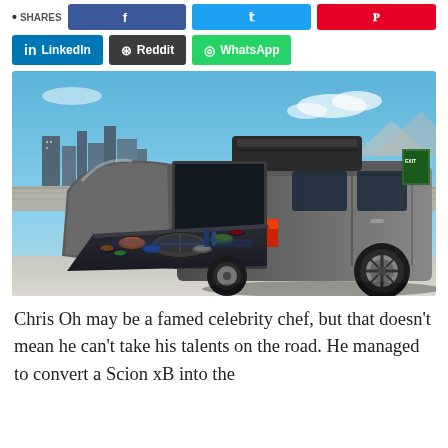SHARES [LinkedIn] [Reddit] [WhatsApp]
[Figure (photo): A modified Scion xB with its rear hatch open, revealing a flat surface extended outward loaded with Korean BBQ food, dishes, and drinks. The car is parked on a rooftop with a city skyline and mountains in the background. The car has a roof cargo box and lowered stance with custom wheels.]
Chris Oh may be a famed celebrity chef, but that doesn't mean he can't take his talents on the road. He managed to convert a Scion xB into the